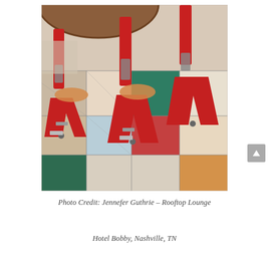[Figure (photo): Close-up photo of red metal bar stools with wooden seat tops, their bases resting on a colorful checkerboard tile floor with tiles in red, green, teal, blue-gray, cream/beige, orange/yellow, and maroon colors. The photo is taken from above looking down at the stool bases and the floor pattern.]
Photo Credit: Jennefer Guthrie – Rooftop Lounge
Hotel Bobby, Nashville, TN